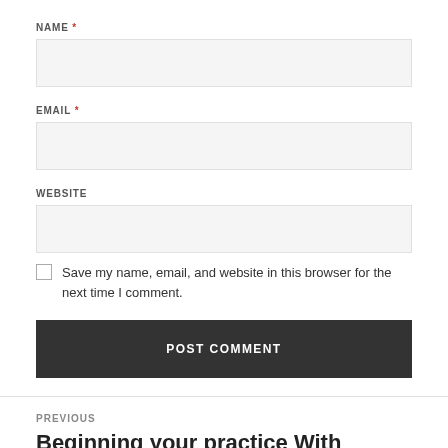NAME *
EMAIL *
WEBSITE
Save my name, email, and website in this browser for the next time I comment.
POST COMMENT
PREVIOUS
Beginning your practice With Sports